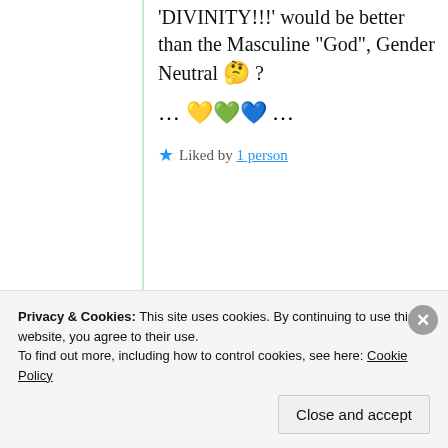‘DIVINITY!!!’ would be better than the Masculine “God”, Gender Neutral 🤔 ?
… 💛 💚 💙 …
★ Liked by 1 person
Yernasia
Privacy & Cookies: This site uses cookies. By continuing to use this website, you agree to their use. To find out more, including how to control cookies, see here: Cookie Policy
Close and accept